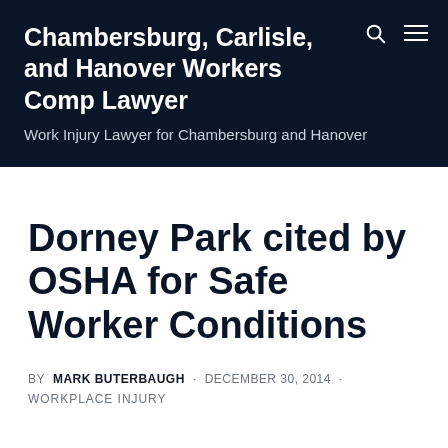Chambersburg, Carlisle, and Hanover Workers Comp Lawyer — Work Injury Lawyer for Chambersburg and Hanover
Dorney Park cited by OSHA for Safe Worker Conditions
BY MARK BUTERBAUGH · DECEMBER 30, 2014 · WORKPLACE INJURY